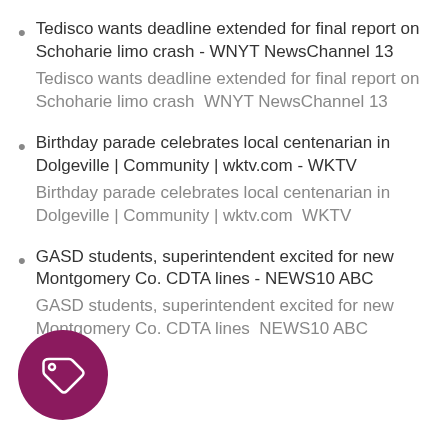Tedisco wants deadline extended for final report on Schoharie limo crash - WNYT NewsChannel 13
Tedisco wants deadline extended for final report on Schoharie limo crash  WNYT NewsChannel 13
Birthday parade celebrates local centenarian in Dolgeville | Community | wktv.com - WKTV
Birthday parade celebrates local centenarian in Dolgeville | Community | wktv.com  WKTV
GASD students, superintendent excited for new Montgomery Co. CDTA lines - NEWS10 ABC
GASD students, superintendent excited for new Montgomery Co. CDTA lines  NEWS10 ABC